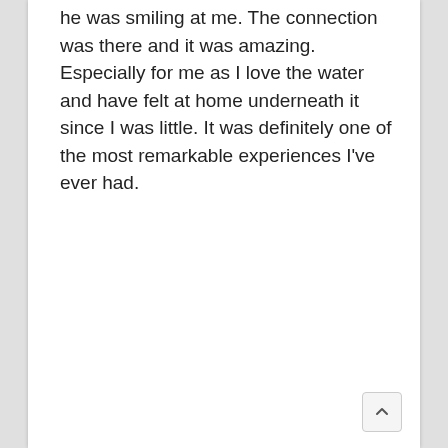he was smiling at me. The connection was there and it was amazing. Especially for me as I love the water and have felt at home underneath it since I was little. It was definitely one of the most remarkable experiences I've ever had.